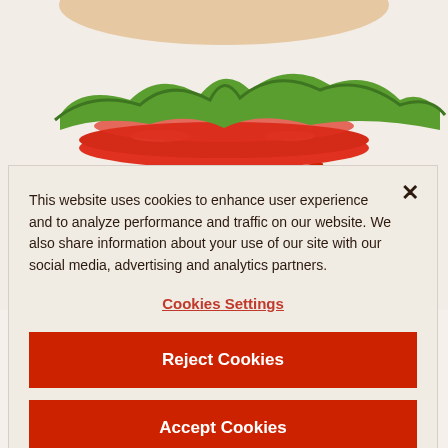[Figure (photo): Burger King Whopper sandwich photo showing a flame-grilled beef patty with lettuce, tomato, onion, pickles, and ketchup on a sesame seed bun, photographed from the side on a beige background.]
Whopper®
This website uses cookies to enhance user experience and to analyze performance and traffic on our website. We also share information about your use of our site with our social media, advertising and analytics partners.
Cookies Settings
Reject Cookies
Accept Cookies